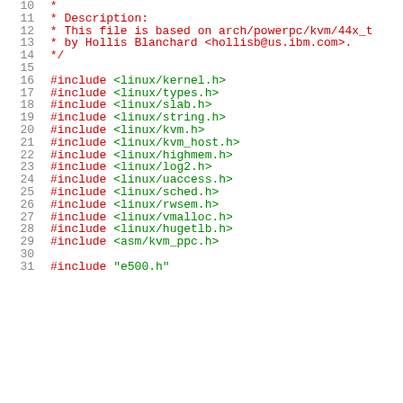10  *
11  * Description:
12  * This file is based on arch/powerpc/kvm/44x_t
13  * by Hollis Blanchard <hollisb@us.ibm.com>.
14  */
15
16  #include <linux/kernel.h>
17  #include <linux/types.h>
18  #include <linux/slab.h>
19  #include <linux/string.h>
20  #include <linux/kvm.h>
21  #include <linux/kvm_host.h>
22  #include <linux/highmem.h>
23  #include <linux/log2.h>
24  #include <linux/uaccess.h>
25  #include <linux/sched.h>
26  #include <linux/rwsem.h>
27  #include <linux/vmalloc.h>
28  #include <linux/hugetlb.h>
29  #include <asm/kvm_ppc.h>
30
31  #include "e500.h"